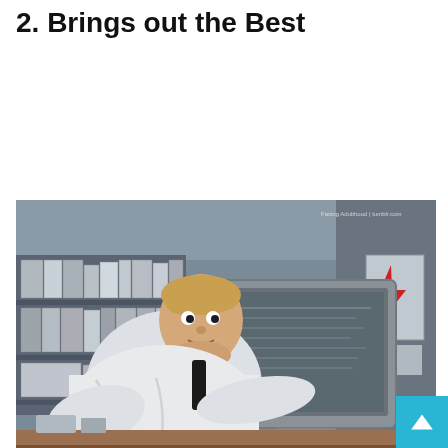2. Brings out the Best
[Figure (illustration): Scene from The Incredibles animated film showing Mr. Incredible (Bob Parr) in a white shirt leaning intently toward an old CRT computer monitor at a cluttered office desk, with bookshelves and binders in the background. A watermark reads 'Facing Adulthood | tumblr.com' in the top right corner.]